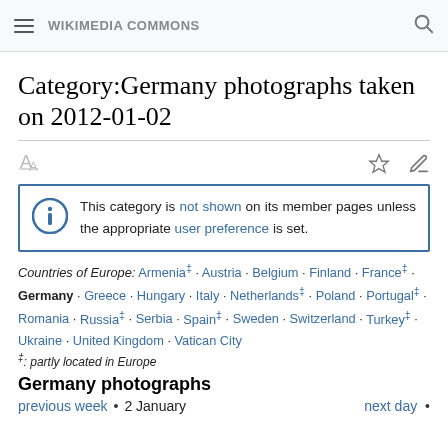WIKIMEDIA COMMONS
Category:Germany photographs taken on 2012-01-02
This category is not shown on its member pages unless the appropriate user preference is set.
Countries of Europe: Armenia‡ · Austria · Belgium · Finland · France‡ · Germany · Greece · Hungary · Italy · Netherlands‡ · Poland · Portugal‡ · Romania · Russia‡ · Serbia · Spain‡ · Sweden · Switzerland · Turkey‡ · Ukraine · United Kingdom · Vatican City
‡: partly located in Europe
Germany photographs
previous week • 2 January next day •